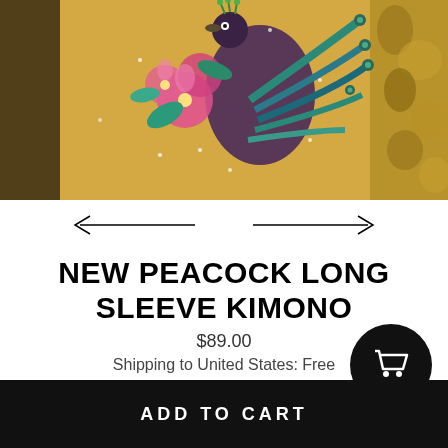[Figure (photo): Close-up photo of a gold/yellow satin kimono with a colorful peacock and pink flowers embroidered/printed on it. The peacock has teal, purple and black feathers. There are sparkle/snow details. Background on right shows gold metallic fabric.]
[Figure (other): Navigation arrows — left arrow on left side, right arrow on right side, for image carousel navigation]
NEW PEACOCK LONG SLEEVE KIMONO
$89.00
Shipping to United States: Free
[Figure (other): Black circular button with white shopping cart icon]
ADD TO CART